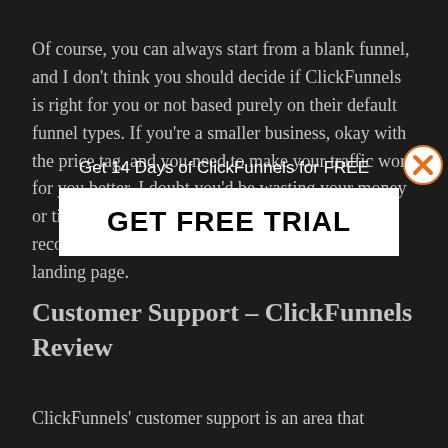Of course, you can always start from a blank funnel, and I don't think you should decide if ClickFunnels is right for you or not based purely on their default funnel types. If you're a smaller business, okay with the price tag, and you need to make your traffic work for you better, I doubt you'd be wasting your money or time with ClickFunnels, but it's especially recommended if you want to maintain a better landing page.
[Figure (other): Popup overlay with orange X close button, text 'Get 14 Days of ClickFunnels for FREE', and a white button labeled 'GET FREE TRIAL']
Customer Support – ClickFunnels Review
ClickFunnels' customer support is an area that